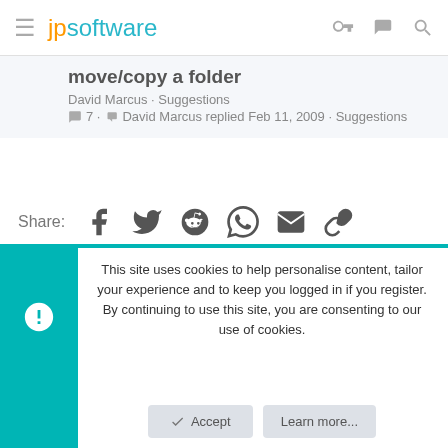jpsoftware
move/copy a folder
David Marcus · Suggestions
7 · David Marcus replied Feb 11, 2009 · Suggestions
Share:
Flare (child) | English (US) | Privacy policy | Help | Home | ↑ | RSS
Community platform by XenForo® © 2010-2021 XenForo Ltd.
This site uses cookies to help personalise content, tailor your experience and to keep you logged in if you register.
By continuing to use this site, you are consenting to our use of cookies.
Accept | Learn more...